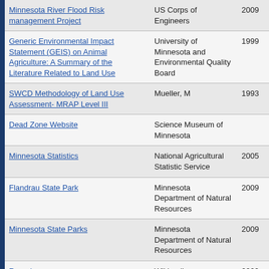| Resource | Author/Organization | Year |
| --- | --- | --- |
| Minnesota River Flood Risk management Project | US Corps of Engineers | 2009 |
| Generic Environmental Impact Statement (GEIS) on Animal Agriculture: A Summary of the Literature Related to Land Use | University of Minnesota and Environmental Quality Board | 1999 |
| SWCD Methodology of Land Use Assessment- MRAP Level III | Mueller, M | 1993 |
| Dead Zone Website | Science Museum of Minnesota |  |
| Minnesota Statistics | National Agricultural Statistic Service | 2005 |
| Flandrau State Park | Minnesota Department of Natural Resources | 2009 |
| Minnesota State Parks | Minnesota Department of Natural Resources | 2009 |
| Roundup | Wikipedia | 2009 |
| Magnitude and Problems of Nonpoint |  |  |